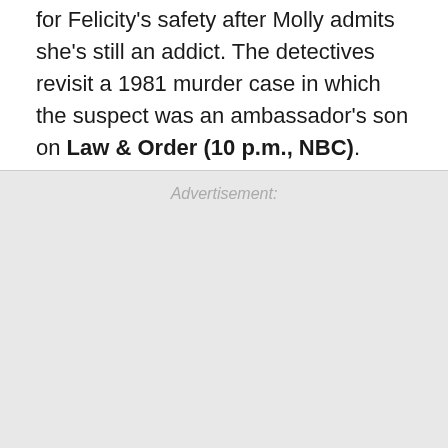for Felicity's safety after Molly admits she's still an addict. The detectives revisit a 1981 murder case in which the suspect was an ambassador's son on Law & Order (10 p.m., NBC).
Advertisement: